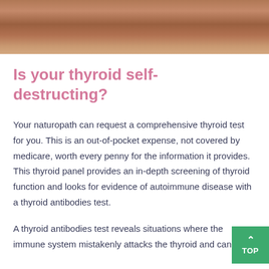[Figure (photo): Close-up photo of a person's neck/back area, cropped at top]
Is your thyroid self-destructing?
Your naturopath can request a comprehensive thyroid test for you. This is an out-of-pocket expense, not covered by medicare, worth every penny for the information it provides. This thyroid panel provides an in-depth screening of thyroid function and looks for evidence of autoimmune disease with a thyroid antibodies test.
A thyroid antibodies test reveals situations where the immune system mistakenly attacks the thyroid and can